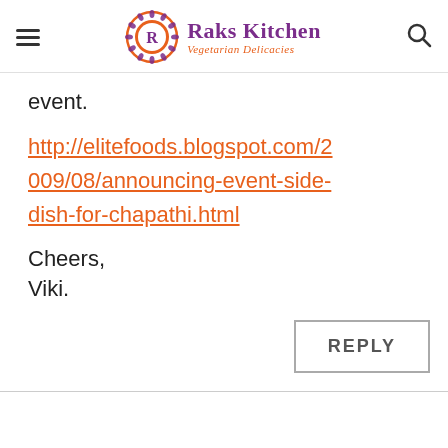Raks Kitchen - Vegetarian Delicacies
event.
http://elitefoods.blogspot.com/2009/08/announcing-event-side-dish-for-chapathi.html
Cheers,
Viki.
REPLY